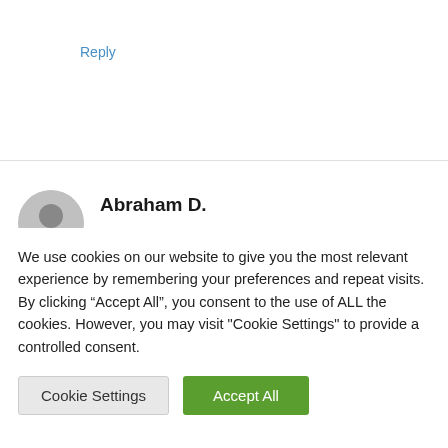Reply
Abraham D.
May 20, 2016 at 7:35 am
We use cookies on our website to give you the most relevant experience by remembering your preferences and repeat visits. By clicking “Accept All”, you consent to the use of ALL the cookies. However, you may visit "Cookie Settings" to provide a controlled consent.